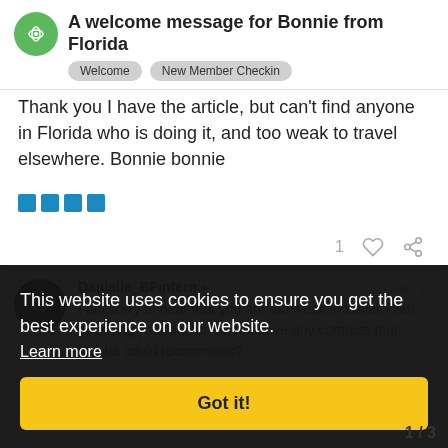A welcome message for Bonnie from Florida
Welcome  New Member Checkin
Thank you I have the article, but can't find anyone in Florida who is doing it, and too weak to travel elsewhere. Bonnie bonnie
[Figure (other): Four blue squares in a row]
1 like, share link
Danielle_BFintern  Aug '18
I am sorry to hear that you are too weak to travel. I am guessing your doctor did not have any contacts that he/she could recommend?
This website uses cookies to ensure you get the best experience on our website. Learn more
Got it!
1 / 3